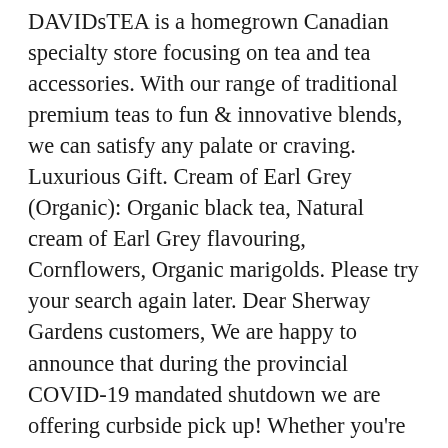DAVIDsTEA is a homegrown Canadian specialty store focusing on tea and tea accessories. With our range of traditional premium teas to fun & innovative blends, we can satisfy any palate or craving. Luxurious Gift. Cream of Earl Grey (Organic): Organic black tea, Natural cream of Earl Grey flavouring, Cornflowers, Organic marigolds. Please try your search again later. Dear Sherway Gardens customers, We are happy to announce that during the provincial COVID-19 mandated shutdown we are offering curbside pick up! Whether you're a tea lover or not, or you just like to try new blends of tea, this selection of 8 different DavidsTea bagged teas is a wonderful gift for yourself or a friend.